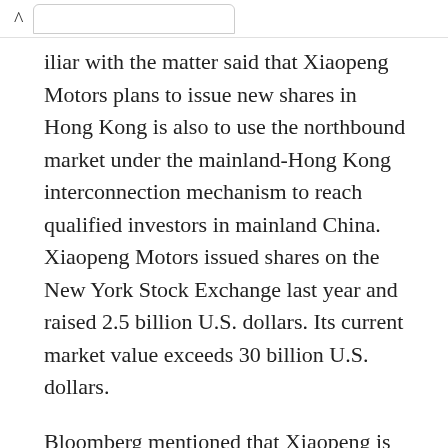^ [tab]
iliar with the matter said that Xiaopeng Motors plans to issue new shares in Hong Kong is also to use the northbound market under the mainland-Hong Kong interconnection mechanism to reach qualified investors in mainland China. Xiaopeng Motors issued shares on the New York Stock Exchange last year and raised 2.5 billion U.S. dollars. Its current market value exceeds 30 billion U.S. dollars.
Bloomberg mentioned that Xiaopeng is not a secondary listing, but a dual primary listing on US stocks and Hong Kong stocks, which is different from other companies that have returned to the country to go public. Because the issuer seeking a secondary listing must have a good regulatory compliance record of at least two years on another eligible exchange, and Xiaopeng only listed in New York last year, which is not qualified. Xiaopeng's